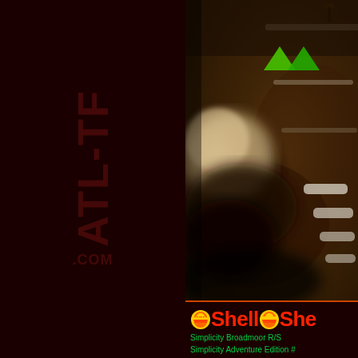[Figure (logo): ATL-TF.COM watermark text displayed vertically in dark red on dark background, left panel]
[Figure (photo): Close-up macro photograph of a spark plug tip/electrode showing carbon deposits and wear, with two green triangle arrows (one pointing up, one pointing down) visible in upper right area of photo, on a dark rusty metallic surface background]
[Figure (logo): Shell oil brand logo (yellow shell icon) repeated twice followed by 'Shell' text in red, with green text below reading 'Simplicity Broadmoor R/S' and 'Simplicity Adventure Edition #']